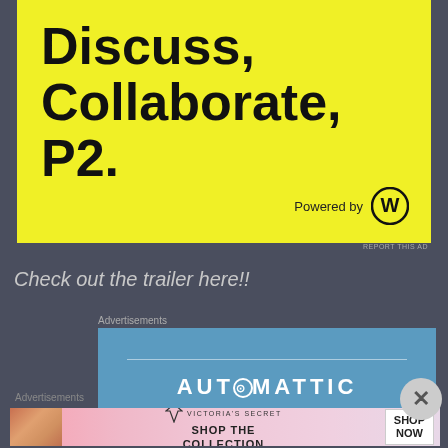[Figure (illustration): Yellow advertisement banner with bold black text reading 'Discuss, Collaborate, P2.' and 'Powered by' with WordPress logo]
REPORT THIS AD
Check out the trailer here!!
Advertisements
[Figure (logo): Blue Automattic advertisement banner with horizontal rule and AUTOMATTIC logo text in white]
Advertisements
[Figure (photo): Victoria's Secret advertisement with woman photo, VS logo, 'SHOP THE COLLECTION' text and 'SHOP NOW' button]